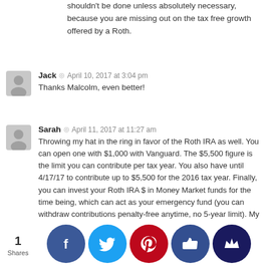shouldn't be done unless absolutely necessary, because you are missing out on the tax free growth offered by a Roth.
Jack · April 10, 2017 at 3:04 pm
Thanks Malcolm, even better!
Sarah · April 11, 2017 at 11:27 am
Throwing my hat in the ring in favor of the Roth IRA as well. You can open one with $1,000 with Vanguard. The $5,500 figure is the limit you can contribute per tax year. You also have until 4/17/17 to contribute up to $5,500 for the 2016 tax year. Finally, you can invest your Roth IRA $ in Money Market funds for the time being, which can act as your emergency fund (you can withdraw contributions penalty-free anytime, no 5-year limit). My advice would be to place that $960 (+$40) in a newly-opened Roth IRA money market fund before 4/17, then continue your contributions for the 2017 tax year. That tax-advantaged space won't be able to get back, due to the annual max, it also allows your works tow...